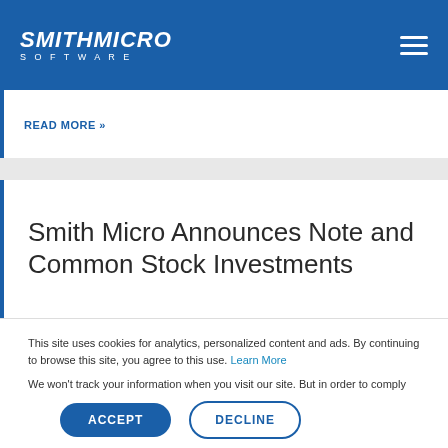Smith Micro Software
READ MORE »
Smith Micro Announces Note and Common Stock Investments
This site uses cookies for analytics, personalized content and ads. By continuing to browse this site, you agree to this use. Learn More
We won't track your information when you visit our site. But in order to comply with your preferences, we'll have to use just one tiny cookie so that you're not asked to make this choice again.
ACCEPT  DECLINE